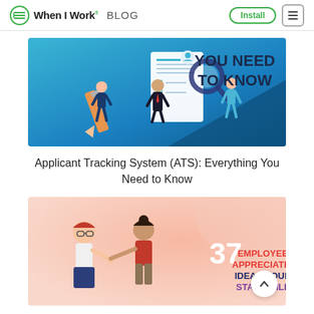When I Work BLOG | Install
[Figure (illustration): Blog article banner for Applicant Tracking System (ATS): Everything You Need to Know. Shows illustrated people with a resume document, checklist, and magnifying glass on a teal/blue background with text YOU NEED TO KNOW.]
Applicant Tracking System (ATS): Everything You Need to Know
[Figure (illustration): Blog article banner for 37 Employee Appreciation Ideas Your Staff Will... Shows two illustrated women shaking hands/fist bumping with a purple heart containing the text '37 EMPLOYEE APPRECIATION IDEAS YOUR STAFF WILL' on a pink/peach gradient background. A white scroll-up arrow button is visible in the lower right.]